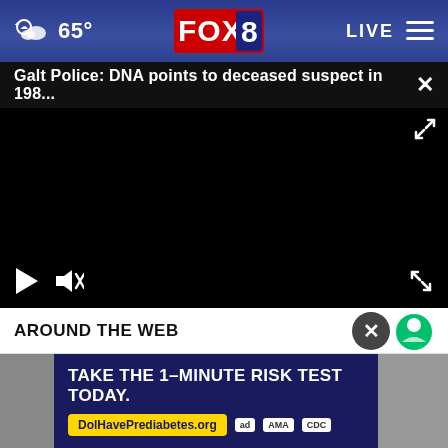65° FOX 8 LIVE
Galt Police: DNA points to deceased suspect in 198... ×
[Figure (screenshot): Black video player area with play button, mute button, and fullscreen icon controls]
AROUND THE WEB
[Figure (screenshot): Advertisement banner: TAKE THE 1-MINUTE RISK TEST TODAY. DolHavePrediabetes.org with AMA and CDC badges]